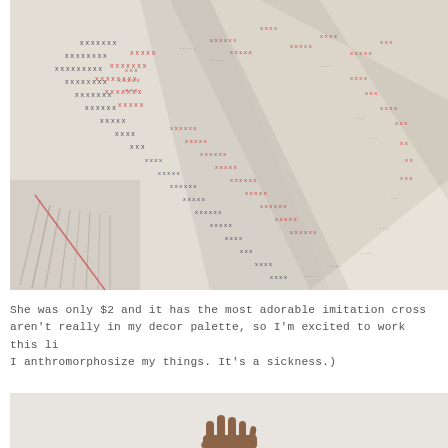[Figure (photo): Close-up photo of a white textile/blanket with red and dark navy imitation cross-stitch pattern forming geometric diamond shapes, with fringe visible on the left side.]
She was only $2 and it has the most adorable imitation cross aren't really in my decor palette, so I'm excited to work this li I anthromorphosize my things. It's a sickness.)
[Figure (photo): Bottom portion of a photo showing a hand against a white/light background.]